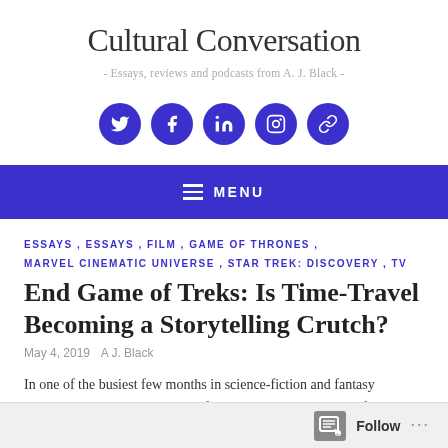Cultural Conversation
- Essays, reviews and podcasts from A. J. Black -
[Figure (other): Five circular dark blue social media icon buttons: Twitter, Facebook, LinkedIn, Instagram, Links]
≡ MENU
ESSAYS , ESSAYS , FILM , GAME OF THRONES , MARVEL CINEMATIC UNIVERSE , STAR TREK: DISCOVERY , TV
End Game of Treks: Is Time-Travel Becoming a Storytelling Crutch?
May 4, 2019   A J. Black
In one of the busiest few months in science-fiction and fantasy popular-culture, the beginning of 2019 has seen three major franchises in cinema and on television become embroiled in what